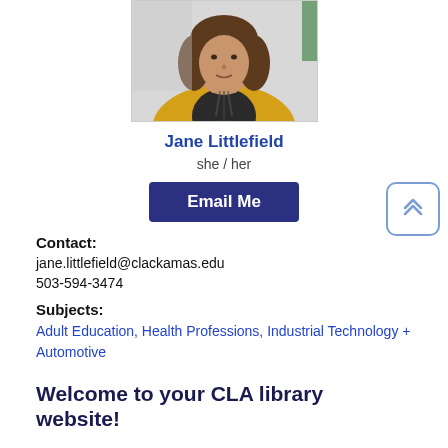[Figure (photo): Portrait photo of Jane Littlefield, a woman with shoulder-length brown hair wearing a yellow cardigan over a black and white patterned blouse]
Jane Littlefield
she / her
Email Me
Contact:
jane.littlefield@clackamas.edu
503-594-3474
Subjects:
Adult Education, Health Professions, Industrial Technology + Automotive
Welcome to your CLA library website!